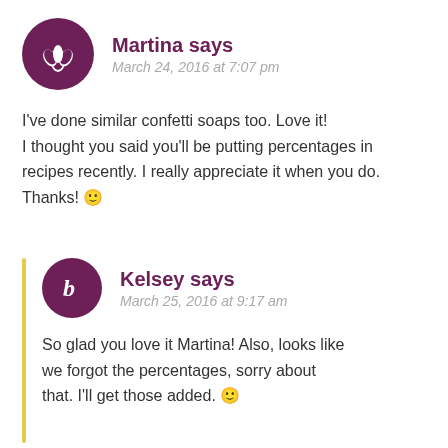[Figure (illustration): Round dark purple avatar with white lotus/leaf icon for Martina]
Martina says
March 24, 2016 at 7:07 pm
I've done similar confetti soaps too. Love it! I thought you said you'll be putting percentages in recipes recently. I really appreciate it when you do. Thanks! 🙂
[Figure (illustration): Round dark purple avatar with white letter b for Kelsey]
Kelsey says
March 25, 2016 at 9:17 am
So glad you love it Martina! Also, looks like we forgot the percentages, sorry about that. I'll get those added. 🙂